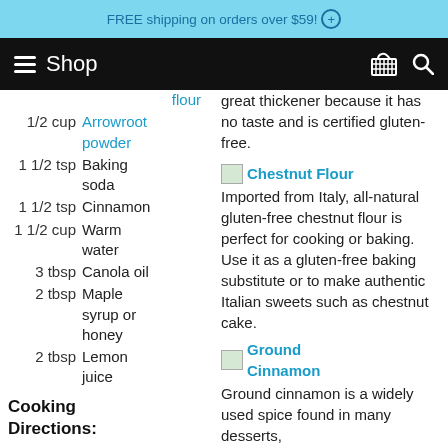FREE shipping on orders over $59! (+)
Shop
flour
1/2 cup Arrowroot powder
1 1/2 tsp Baking soda
1 1/2 tsp Cinnamon
1 1/2 cup Warm water
3 tbsp Canola oil
2 tbsp Maple syrup or honey
2 tbsp Lemon juice
Cooking Directions:
great thickener because it has no taste and is certified gluten-free.
Chestnut Flour
Imported from Italy, all-natural gluten-free chestnut flour is perfect for cooking or baking. Use it as a gluten-free baking substitute or to make authentic Italian sweets such as chestnut cake.
Ground Cinnamon
Ground cinnamon is a widely used spice found in many desserts, chocolates, spicy candy, tea, hot